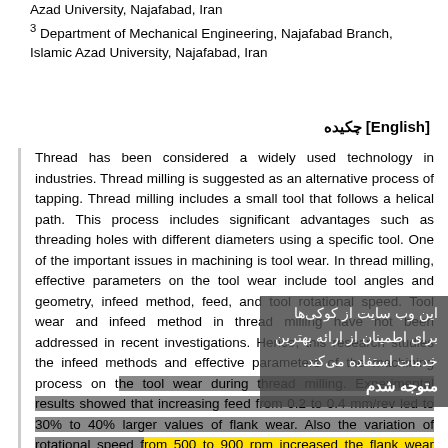Azad University, Najafabad, Iran
3 Department of Mechanical Engineering, Najafabad Branch, Islamic Azad University, Najafabad, Iran
چکیده [English]
Thread has been considered a widely used technology in industries. Thread milling is suggested as an alternative process of tapping. Thread milling includes a small tool that follows a helical path. This process includes significant advantages such as threading holes with different diameters using a specific tool. One of the important issues in machining is tool wear. In thread milling, effective parameters on the tool wear include tool angles and geometry, infeed method, feed, and tool rotational speed. Tool wear and infeed method in thread milling have not been addressed in recent investigations. Hence, this research studies the infeed methods and effective parameters of the machining process on the tool wear during thread milling. Experimental results showed that increasing feed from 0.2 to 0.4 mm/rev led to 30% to 40% larger values of flank wear. Also the variation of rotational speed from 500 to 900 rpm increased the flank wear about 50% to 60%. Two cases of incremental and modified flank infeed were employed. Considering different rotational speeds, the incremental infeed method increased the tool life about 10%.